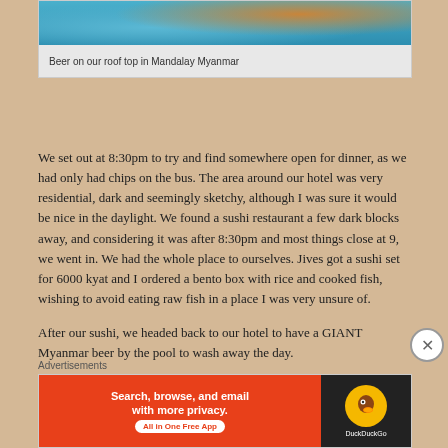[Figure (photo): Partial photo showing a person with a hat against a blue background, cropped at top]
Beer on our roof top in Mandalay Myanmar
We set out at 8:30pm to try and find somewhere open for dinner, as we had only had chips on the bus. The area around our hotel was very residential, dark and seemingly sketchy, although I was sure it would be nice in the daylight. We found a sushi restaurant a few dark blocks away, and considering it was after 8:30pm and most things close at 9, we went in. We had the whole place to ourselves. Jives got a sushi set for 6000 kyat and I ordered a bento box with rice and cooked fish, wishing to avoid eating raw fish in a place I was very unsure of.
After our sushi, we headed back to our hotel to have a GIANT Myanmar beer by the pool to wash away the day.
Advertisements
[Figure (screenshot): DuckDuckGo advertisement banner: Search, browse, and email with more privacy. All in One Free App]